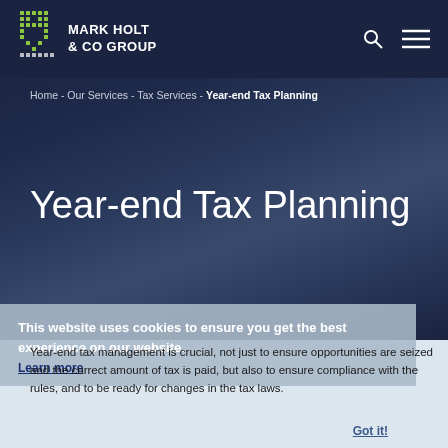MARK HOLT & CO GROUP
Home - Our Services - Tax Services - Year-end Tax Planning
Year-end Tax Planning
This website uses cookies to ensure you get the best experience on our website.
Learn more
Year-end tax management is crucial, not just to ensure opportunities are seized and the correct amount of tax is paid, but also to ensure compliance with the rules, and to be ready for changes in the tax laws.